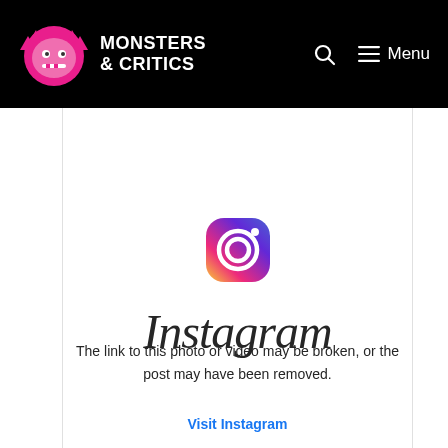Monsters & Critics — Menu
[Figure (logo): Instagram logo icon (gradient camera icon) followed by Instagram wordmark in script font]
The link to this photo or video may be broken, or the post may have been removed.
Visit Instagram